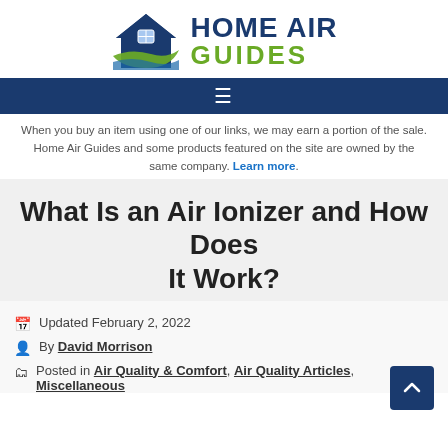[Figure (logo): Home Air Guides logo with house icon and text HOME AIR GUIDES]
☰ (navigation menu icon on dark blue bar)
When you buy an item using one of our links, we may earn a portion of the sale. Home Air Guides and some products featured on the site are owned by the same company. Learn more.
What Is an Air Ionizer and How Does It Work?
Updated February 2, 2022
By David Morrison
Posted in Air Quality & Comfort, Air Quality Articles, Miscellaneous